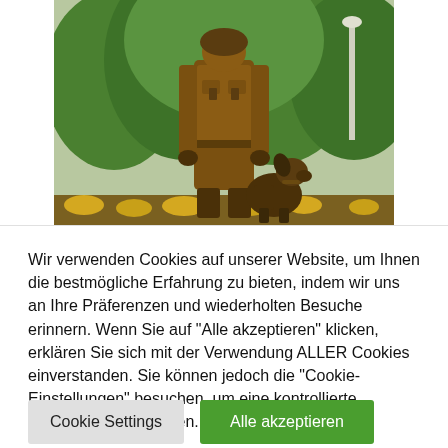[Figure (photo): A bronze statue of a soldier/firefighter in uniform standing with a military/service dog seated beside them. Background shows green trees and a lamp post, with yellow flowers at the base.]
Wir verwenden Cookies auf unserer Website, um Ihnen die bestmögliche Erfahrung zu bieten, indem wir uns an Ihre Präferenzen und wiederholten Besuche erinnern. Wenn Sie auf "Alle akzeptieren" klicken, erklären Sie sich mit der Verwendung ALLER Cookies einverstanden. Sie können jedoch die "Cookie-Einstellungen" besuchen, um eine kontrollierte Zustimmung zu erteilen.
Cookie Settings | Alle akzeptieren